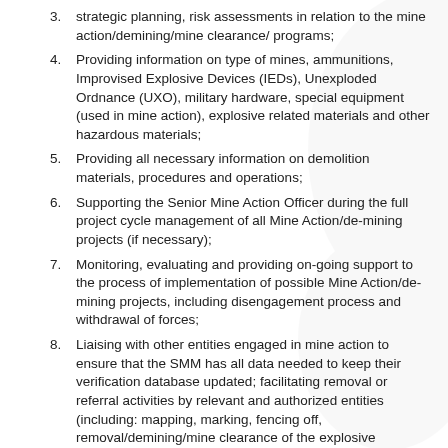strategic planning, risk assessments in relation to the mine action/demining/mine clearance/ programs;
Providing information on type of mines, ammunitions, Improvised Explosive Devices (IEDs), Unexploded Ordnance (UXO), military hardware, special equipment (used in mine action), explosive related materials and other hazardous materials;
Providing all necessary information on demolition materials, procedures and operations;
Supporting the Senior Mine Action Officer during the full project cycle management of all Mine Action/de-mining projects (if necessary);
Monitoring, evaluating and providing on-going support to the process of implementation of possible Mine Action/de-mining projects, including disengagement process and withdrawal of forces;
Liaising with other entities engaged in mine action to ensure that the SMM has all data needed to keep their verification database updated; facilitating removal or referral activities by relevant and authorized entities (including: mapping, marking, fencing off, removal/demining/mine clearance of the explosive hazards, etc.);
Supporting development, in co-ordination with the SMM